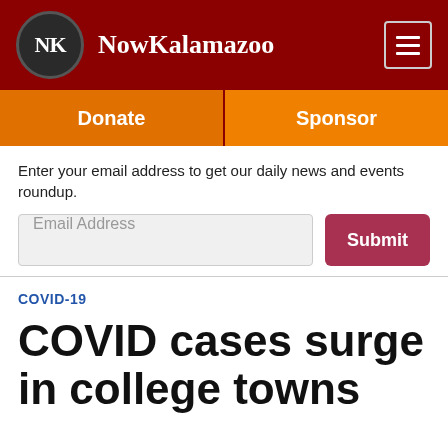NowKalamazoo
Donate | Sponsor
Enter your email address to get our daily news and events roundup.
Email Address  Submit
COVID-19
COVID cases surge in college towns